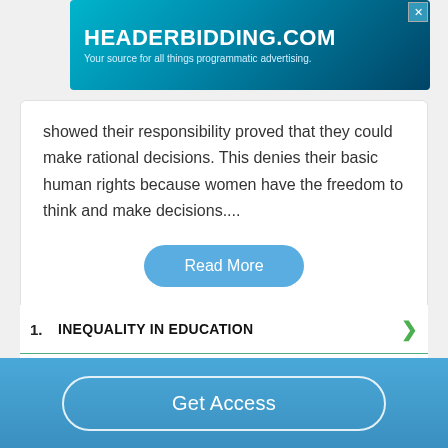[Figure (other): Advertisement banner for headerbidding.com with teal/blue gradient background. Text reads HEADERBIDDING.COM and Your source for all things programmatic advertising.]
showed their responsibility proved that they could make rational decisions. This denies their basic human rights because women have the freedom to think and make decisions....
Read More
1. INEQUALITY IN EDUCATION
2. INEQUALITY SOLUTION CALCULATOR
Get Access